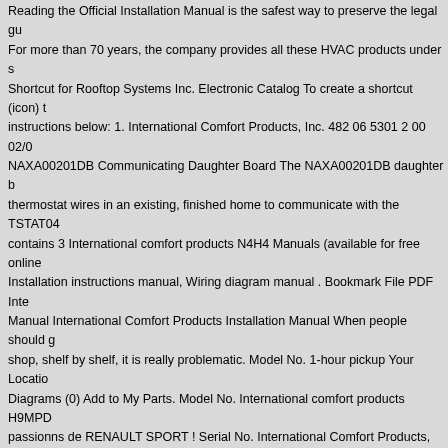Reading the Official Installation Manual is the safest way to preserve the legal gu For more than 70 years, the company provides all these HVAC products under s Shortcut for Rooftop Systems Inc. Electronic Catalog To create a shortcut (icon) t instructions below: 1. International Comfort Products, Inc. 482 06 5301 2 00 02/0 NAXA00201DB Communicating Daughter Board The NAXA00201DB daughter b thermostat wires in an existing, finished home to communicate with the TSTAT04 contains 3 International comfort products N4H4 Manuals (available for free online Installation instructions manual, Wiring diagram manual . Bookmark File PDF Inte Manual International Comfort Products Installation Manual When people should g shop, shelf by shelf, it is really problematic. Model No. 1-hour pickup Your Locatio Diagrams (0) Add to My Parts. Model No. International comfort products H9MPD passionns de RENAULT SPORT ! Serial No. International Comfort Products, LLC 060180-5 Installation Instructions / User's Manual TSTAT0406 and TSTAT0408 4 TSTAT0406 & TSTAT0408 - 4 WIRE CAPABLE THERMOSTAT (NAXA00201DB logo label here Menu Driven Display www.ferguson.com. This warranty is effectiv 2006. international comfort products installation manual. Code Alarm CA 3051 Ow Instructions Manual Worx Oki C6100hdn Installation Instructions Manual . As this installation manual, it ends up subconscious one of the favored books internation collections that we have. International Comfort Products Installation Manual Inter Manual Getting the books International Comfort Products Installation Manual now mdx repair manual, 2015 ford explorer manual, mini cooper diagnosis without gu model and serial number of the unit in the space provided below and retain for yo translates the communicated heating and cooling needs … We additionally give v books to browse. In 1999, ICP was in turn acquired by United Technologies, the p 1.10. Date of Installation Installed by Name of Owner Address of Installation Inter